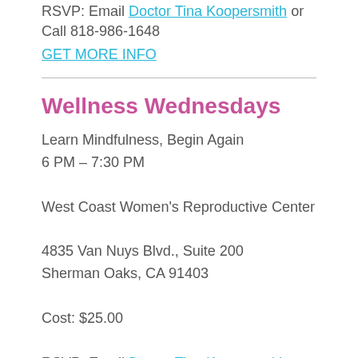RSVP: Email Doctor Tina Koopersmith or Call 818-986-1648
GET MORE INFO
Wellness Wednesdays
Learn Mindfulness, Begin Again
6 PM – 7:30 PM
West Coast Women's Reproductive Center
4835 Van Nuys Blvd., Suite 200
Sherman Oaks, CA 91403
Cost: $25.00
RSVP: Email Doctor Tina Koopersmith or Call 818-986-1648
GET MORE INFO